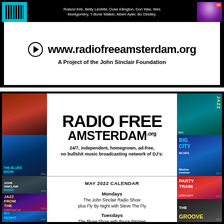Roland Kirk, Betty LaVette, Duke Ellington, Don Was, Wes Montgomery, T-Bone Walker, Albert Ayler, Bo Diddley.
[Figure (infographic): Radio Free Amsterdam website banner with URL and John Sinclair Foundation tagline]
RADIO FREE AMSTERDAM.ORG
24/7, independent, homegrown, ad-free, no bullshit music broadcasting network of DJ's:
MAY 2022 CALENDAR
Mondays
The John Sinclair Radio Show
plus Fly By Night with Steve The Fly
Tuesdays
The Blues Show with Bruce Pingree
Chicago Bound with Leslie Keros
Wednesdays
BluesTime International with Roger White
plus Party Train with Linda Lexy